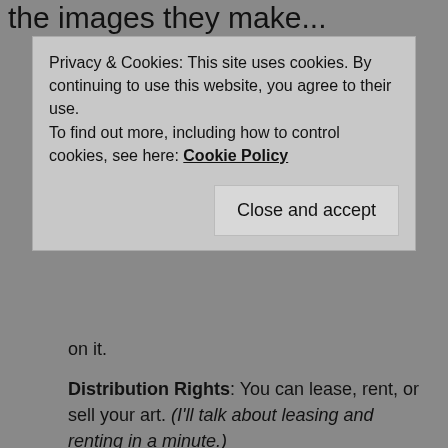the images they make...
Privacy & Cookies: This site uses cookies. By continuing to use this website, you agree to their use.
To find out more, including how to control cookies, see here: Cookie Policy
on it.
Distribution Rights: You can lease, rent, or sell your art. (I'll talk about leasing and renting in a minute.)
Public Performance Right: This applies to musical and performance arts more than the visual arts. This means that you have the right to perform or otherwise play the work in public.
Public Display Right: You can display your work in a public space.